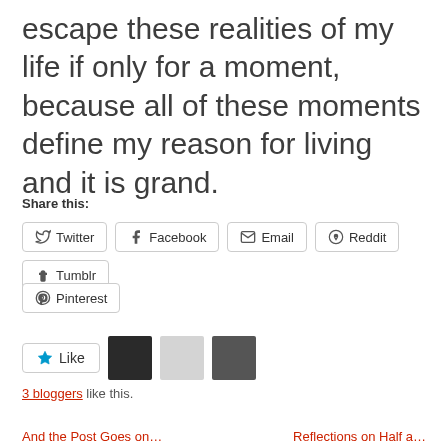escape these realities of my life if only for a moment, because all of these moments define my reason for living and it is grand.
Share this:
Twitter
Facebook
Email
Reddit
Tumblr
Pinterest
[Figure (infographic): Like button with star icon and 3 blogger avatar thumbnails]
3 bloggers like this.
And the Post Goes on
Reflections on Half a